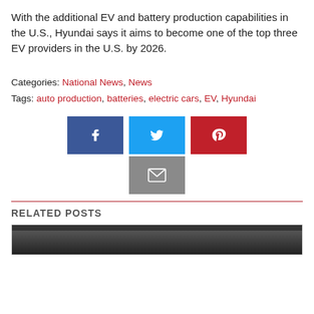With the additional EV and battery production capabilities in the U.S., Hyundai says it aims to become one of the top three EV providers in the U.S. by 2026.
Categories: National News, News
Tags: auto production, batteries, electric cars, EV, Hyundai
[Figure (infographic): Social share buttons: Facebook (dark blue), Twitter (light blue), Pinterest (red), Email (grey)]
RELATED POSTS
[Figure (photo): Partially visible thumbnail image for a related post, dark background]